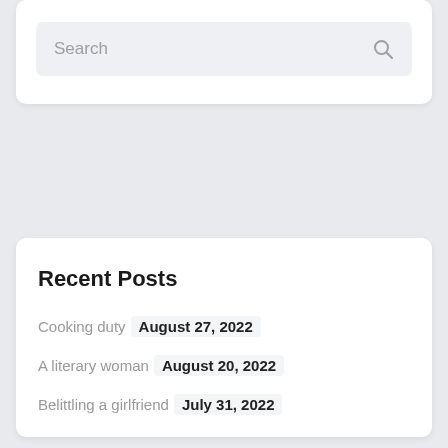[Figure (screenshot): Search input box with placeholder text 'Search' and a magnifying glass icon on the right, on a light gray background, inside a white card.]
Recent Posts
Cooking duty August 27, 2022
A literary woman August 20, 2022
Belittling a girlfriend July 31, 2022